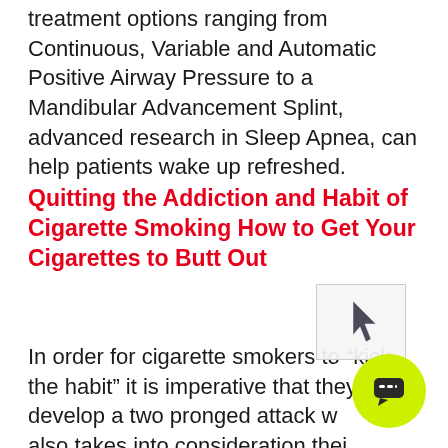treatment options ranging from Continuous, Variable and Automatic Positive Airway Pressure to a Mandibular Advancement Splint, advanced research in Sleep Apnea, can help patients wake up refreshed.
Quitting the Addiction and Habit of Cigarette Smoking How to Get Your Cigarettes to Butt Out
In order for cigarette smokers to “kick the habit” it is imperative that they develop a two pronged attack which also takes into consideration their accompanying addiction. Once their habit and addiction have been extinguished the next phase is learning how to use behavior